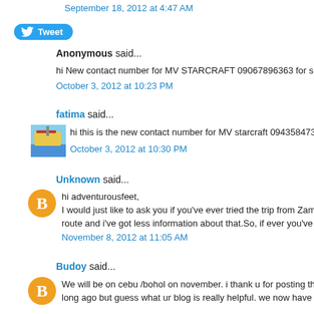September 18, 2012 at 4:47 AM
[Figure (other): Twitter Tweet button]
Anonymous said...
hi New contact number for MV STARCRAFT 09067896363 for su...
October 3, 2012 at 10:23 PM
fatima said...
[Figure (photo): Thumbnail image of a boat/ship]
hi this is the new contact number for MV starcraft 09435847316 ar...
October 3, 2012 at 10:30 PM
Unknown said...
[Figure (logo): Orange blogger avatar icon with B letter]
hi adventurousfeet,
I would just like to ask you if you've ever tried the trip from Zamboa...
route and i've got less information about that.So, if ever you've trie...
November 8, 2012 at 11:05 AM
Budoy said...
[Figure (logo): Orange blogger avatar icon with B letter]
We will be on cebu /bohol on november. i thank u for posting these... long ago but guess what ur blog is really helpful. we now have pat...